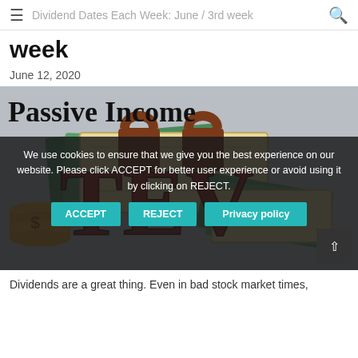Dividend Dates Each Week: June / 3rd week
week
June 12, 2020
[Figure (illustration): Passive Income TEV branded image showing stacks of money, padlocks, coins with dollar sign, and large red TEV text overlaid on a gray background.]
We use cookies to ensure that we give you the best experience on our website. Please click ACCEPT for better user experience or avoid using it by clicking on REJECT.
Dividends are a great thing. Even in bad stock market times,